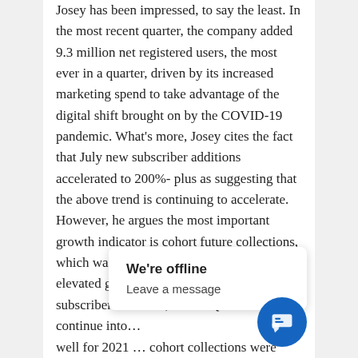Josey has been impressed, to say the least. In the most recent quarter, the company added 9.3 million net registered users, the most ever in a quarter, driven by its increased marketing spend to take advantage of the digital shift brought on by the COVID-19 pandemic. What's more, Josey cites the fact that July new subscriber additions accelerated to 200%-plus as suggesting that the above trend is continuing to accelerate. However, he argues the most important growth indicator is cohort future collections, which was up over 90%, as "it talks to an elevated growth cadence of Wix's Q2 new subscriber additions, and as Q2 trends continue into… well for 2021… cohort collections were 66% year-over-
We're offline
Leave a message